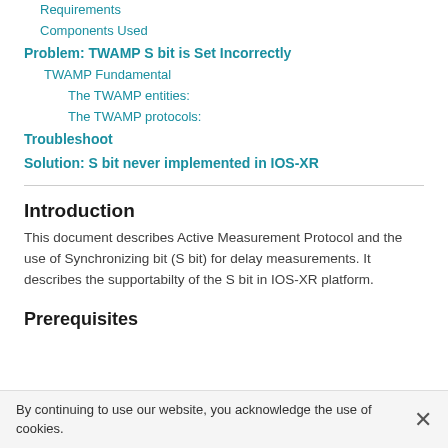Requirements
Components Used
Problem: TWAMP S bit is Set Incorrectly
TWAMP Fundamental
The TWAMP entities:
The TWAMP protocols:
Troubleshoot
Solution: S bit never implemented in IOS-XR
Introduction
This document describes Active Measurement Protocol and the use of Synchronizing bit (S bit) for delay measurements. It describes the supportabilty of the S bit in IOS-XR platform.
Prerequisites
By continuing to use our website, you acknowledge the use of cookies.